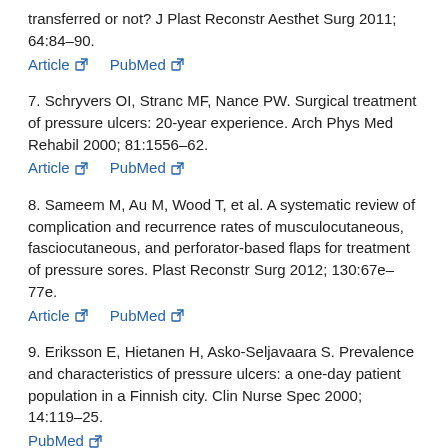transferred or not? J Plast Reconstr Aesthet Surg 2011; 64:84–90. Article  PubMed
7. Schryvers OI, Stranc MF, Nance PW. Surgical treatment of pressure ulcers: 20-year experience. Arch Phys Med Rehabil 2000; 81:1556–62. Article  PubMed
8. Sameem M, Au M, Wood T, et al. A systematic review of complication and recurrence rates of musculocutaneous, fasciocutaneous, and perforator-based flaps for treatment of pressure sores. Plast Reconstr Surg 2012; 130:67e–77e. Article  PubMed
9. Eriksson E, Hietanen H, Asko-Seljavaara S. Prevalence and characteristics of pressure ulcers: a one-day patient population in a Finnish city. Clin Nurse Spec 2000; 14:119–25. PubMed
10. Biglari B, Buchler A, Reitzel T, et al. A retrospective study on flap complications after pressure ulcer surgery in spinal cord-injured patients. Spinal Cord 2014; 52:80–3. Article  PubMed